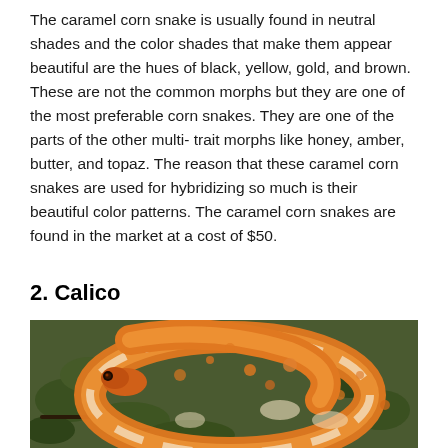The caramel corn snake is usually found in neutral shades and the color shades that make them appear beautiful are the hues of black, yellow, gold, and brown. These are not the common morphs but they are one of the most preferable corn snakes. They are one of the parts of the other multi- trait morphs like honey, amber, butter, and topaz. The reason that these caramel corn snakes are used for hybridizing so much is their beautiful color patterns. The caramel corn snakes are found in the market at a cost of $50.
2. Calico
[Figure (photo): A coiled corn snake with orange and white/cream coloring with orange speckles, resting on green mossy ground]